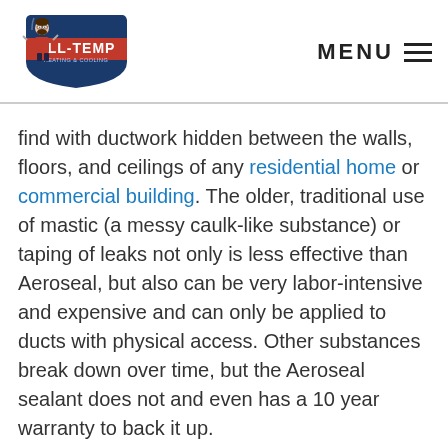[Figure (logo): All-Temp Heating & Cooling logo with cartoon HVAC technician mascot]
MENU ≡
find with ductwork hidden between the walls, floors, and ceilings of any residential home or commercial building. The older, traditional use of mastic (a messy caulk-like substance) or taping of leaks not only is less effective than Aeroseal, but also can be very labor-intensive and expensive and can only be applied to ducts with physical access. Other substances break down over time, but the Aeroseal sealant does not and even has a 10 year warranty to back it up.
Leaky ducts in a residential home contribute to: